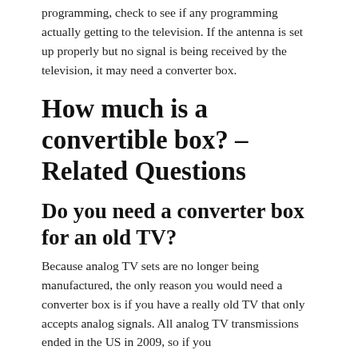programming, check to see if any programming actually getting to the television. If the antenna is set up properly but no signal is being received by the television, it may need a converter box.
How much is a convertible box? – Related Questions
Do you need a converter box for an old TV?
Because analog TV sets are no longer being manufactured, the only reason you would need a converter box is if you have a really old TV that only accepts analog signals. All analog TV transmissions ended in the US in 2009, so if you